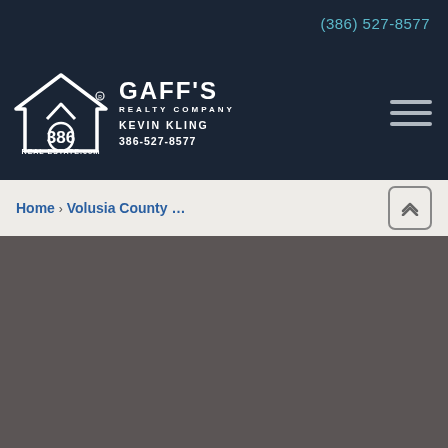(386) 527-8577
[Figure (logo): 386 Real Estate logo with house icon and Gaff's Realty Company branding, Kevin Kling 386-527-8577]
Home > Volusia County ...